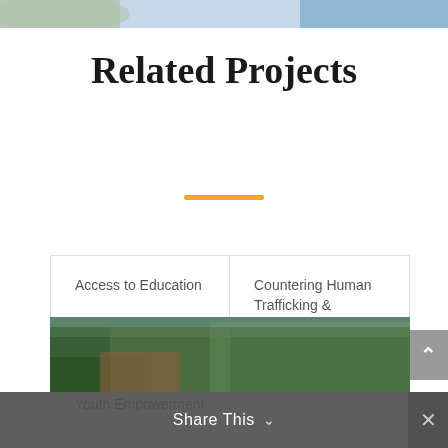[Figure (photo): Top banner image showing light blue and green gradient background, partially visible]
Related Projects
Access to Education
Countering Human Trafficking & Gender-Based Violence
Youth Empowerment
[Figure (photo): Outdoor photo showing wooden structure and green trees]
Share This